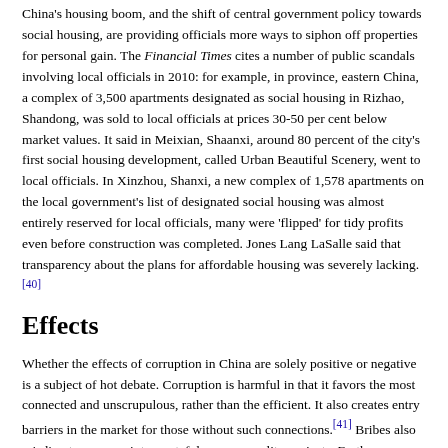China's housing boom, and the shift of central government policy towards social housing, are providing officials more ways to siphon off properties for personal gain. The Financial Times cites a number of public scandals involving local officials in 2010: for example, in province, eastern China, a complex of 3,500 apartments designated as social housing in Rizhao, Shandong, was sold to local officials at prices 30-50 per cent below market values. It said in Meixian, Shaanxi, around 80 percent of the city's first social housing development, called Urban Beautiful Scenery, went to local officials. In Xinzhou, Shanxi, a new complex of 1,578 apartments on the local government's list of designated social housing was almost entirely reserved for local officials, many were 'flipped' for tidy profits even before construction was completed. Jones Lang LaSalle said that transparency about the plans for affordable housing was severely lacking.[40]
Effects
Whether the effects of corruption in China are solely positive or negative is a subject of hot debate. Corruption is harmful in that it favors the most connected and unscrupulous, rather than the efficient. It also creates entry barriers in the market for those without such connections.[41] Bribes also misdirect resources into wasteful or poor-quality projects. Further, proceeds from illegal